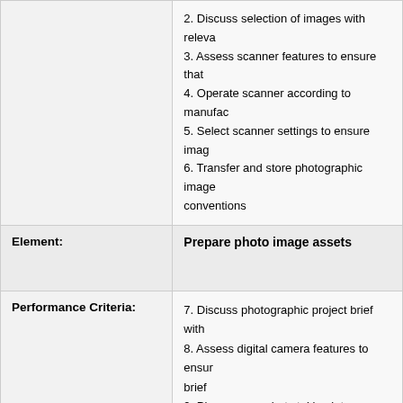|  |  |
| --- | --- |
|  | 2. Discuss selection of images with releva...
3. Assess scanner features to ensure that...
4. Operate scanner according to manufac...
5. Select scanner settings to ensure imag...
6. Transfer and store photographic image... conventions |
| Element: | Prepare photo image assets |
| Performance Criteria: | 7. Discuss photographic project brief with...
8. Assess digital camera features to ensur... brief
9. Plan camera shots taking into account b... photographic techniques
10. Load and operate digital camera acco...
11. Consider digital camera focus, exposu... meets production requirements
12. Check photographic images for fitness...
13. Transfer and store photographic imag... conventions |